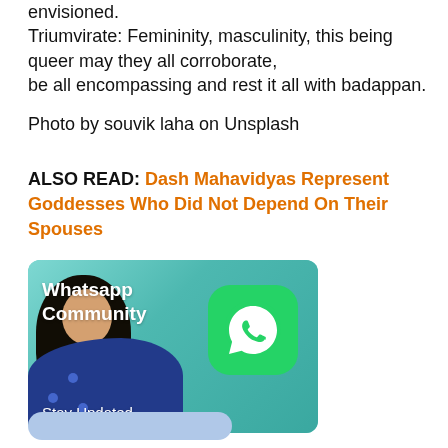envisioned.
Triumvirate: Femininity, masculinity, this being queer may they all corroborate,
be all encompassing and rest it all with badappan.
Photo by souvik laha on Unsplash
ALSO READ: Dash Mahavidyas Represent Goddesses Who Did Not Depend On Their Spouses
[Figure (photo): WhatsApp Community promotional banner showing a woman using a phone with the WhatsApp logo icon visible, with text 'Whatsapp Community' and 'Stay Updated']